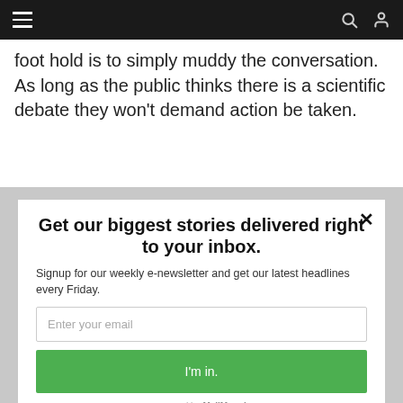≡  🔍 👤
foot hold is to simply muddy the conversation. As long as the public thinks there is a scientific debate they won't demand action be taken.
Get our biggest stories delivered right to your inbox.
Signup for our weekly e-newsletter and get our latest headlines every Friday.
Enter your email
I'm in.
powered by MailMunch